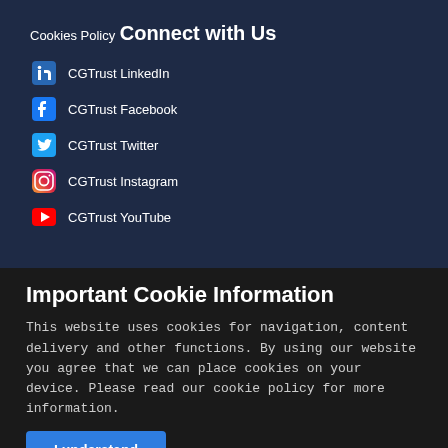Cookies Policy
Connect with Us
CGTrust LinkedIn
CGTrust Facebook
CGTrust Twitter
CGTrust Instagram
CGTrust YouTube
Important Cookie Information
This website uses cookies for navigation, content delivery and other functions. By using our website you agree that we can place cookies on your device. Please read our cookie policy for more information.
I understand